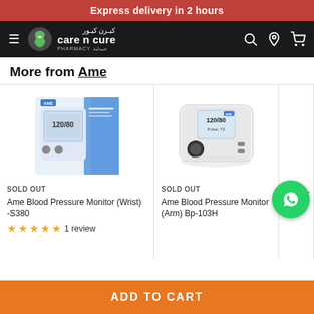Express delivery in 2 hours
[Figure (logo): Care N Cure Pharmacy logo with navigation bar on dark background]
More from Ame
[Figure (photo): Ame Blood Pressure Monitor Wrist S380 product box]
SOLD OUT
Ame Blood Pressure Monitor (Wrist) -S380
★★★★★ 1 review
[Figure (photo): Ame Blood Pressure Monitor Arm Bp-103H device]
SOLD OUT
Ame Blood Pressure Monitor (Arm) Bp-103H
Ambol-
ADD TO CART